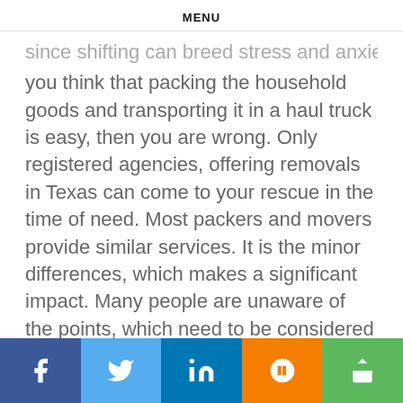MENU
since shifting can breed stress and anxiety. If you think that packing the household goods and transporting it in a haul truck is easy, then you are wrong. Only registered agencies, offering removals in Texas can come to your rescue in the time of need. Most packers and movers provide similar services. It is the minor differences, which makes a significant impact. Many people are unaware of the points, which need to be considered while zeroing in on a particular company. This unawareness paves the path for several mistakes.
Social share bar: Facebook, Twitter, LinkedIn, Blogger, Share